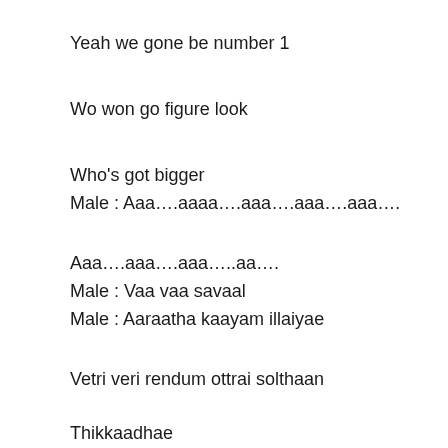Yeah we gone be number 1
Wo won go figure look
Who's got bigger
Male : Aaa….aaaa….aaa….aaa….aaa….
Aaa….aaa….aaa…..aa….
Male : Vaa vaa savaal
Male : Aaraatha kaayam illaiyae
Vetri veri rendum ottrai solthaan
Thikkaadhae